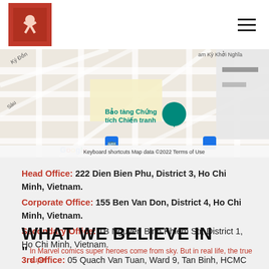Logo and navigation header
[Figure (map): Google Maps screenshot showing area around Bao tang Chung tich Chien tranh in Ho Chi Minh City, Vietnam. Shows streets including Ky Don, Ben Chuong Duong, Nguyen Binh Khiem area. Map data ©2022. Keyboard shortcuts and Terms of Use visible.]
Head Office: 222 Dien Bien Phu, District 3, Ho Chi Minh, Vietnam.
Corporate Office: 155 Ben Van Don, District 4, Ho Chi Minh, Vietnam.
Secondary Office: 1B Nguyen Binh Khiem Str, District 1, Ho Chi Minh, Vietnam.
3rd Office: 05 Quach Van Tuan, Ward 9, Tan Binh, HCMC
WHAT WE BELIEVE IN
In Marvel comics super heroes come from sky. But in real life, the true super